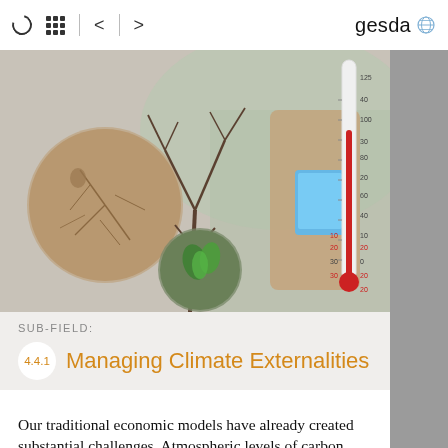gesda
[Figure (photo): Composite hero image showing cracked dry earth with a child, bare tree branches, a person holding a tablet in a greenhouse, circular inset of green plants, and a thermometer showing temperature scale on the right.]
SUB-FIELD:
4.4.1  Managing Climate Externalities
Our traditional economic models have already created substantial challenges. Atmospheric levels of carbon dioxide have been rising steadily since the industrial revolution, leading to global temperature rises that threaten the habitability of